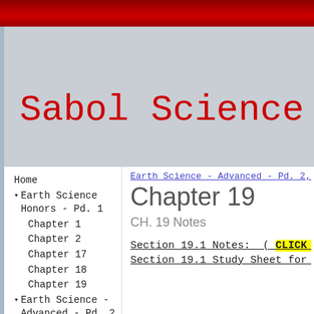Sabol Science
Home
▾ Earth Science Honors - Pd. 1
Chapter 1
Chapter 2
Chapter 17
Chapter 18
Chapter 19
▾ Earth Science - Advanced - Pd. 2,
Earth Science - Advanced - Pd. 2, 4
Chapter 19
CH. 19 Notes
Section 19.1 Notes:  ( CLICK HERE
Section 19.1 Study Sheet for C